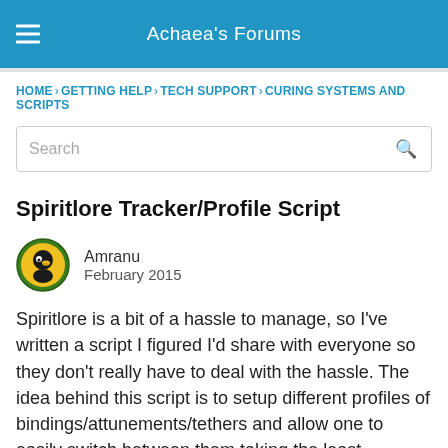Achaea's Forums
HOME › GETTING HELP › TECH SUPPORT › CURING SYSTEMS AND SCRIPTS
Spiritlore Tracker/Profile Script
Amranu
February 2015
Spiritlore is a bit of a hassle to manage, so I've written a script I figured I'd share with everyone so they don't really have to deal with the hassle. The idea behind this script is to setup different profiles of bindings/attunements/tethers and allow one to easily switch between them taking the least possible amount of time to get there.